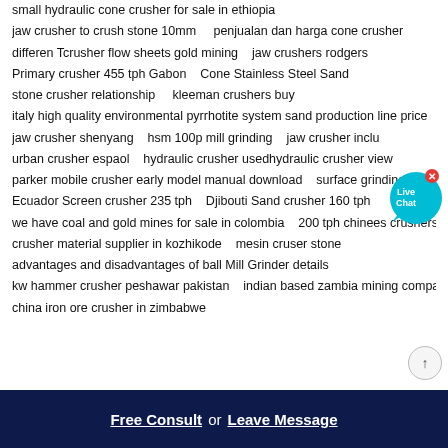small hydraulic cone crusher for sale in ethiopia
jaw crusher to crush stone 10mm    penjualan dan harga cone crusher
differen Tcrusher flow sheets gold mining    jaw crushers rodgers
Primary crusher 455 tph Gabon    Cone Stainless Steel Sand
stone crusher relationship    kleeman crushers buy
italy high quality environmental pyrrhotite system sand production line price
jaw crusher shenyang    hsm 100p mill grinding    jaw crusher inclu...
urban crusher espaol    hydraulic crusher usedhydraulic crusher view
parker mobile crusher early model manual download    surface grinding turkish
Ecuador Screen crusher 235 tph    Djibouti Sand crusher 160 tph
we have coal and gold mines for sale in colombia    200 tph chinees crushers
crusher material supplier in kozhikode    mesin cruser stone
advantages and disadvantages of ball Mill Grinder details
kw hammer crusher peshawar pakistan    indian based zambia mining company
china iron ore crusher in zimbabwe
Free Consult  or  Leave Message